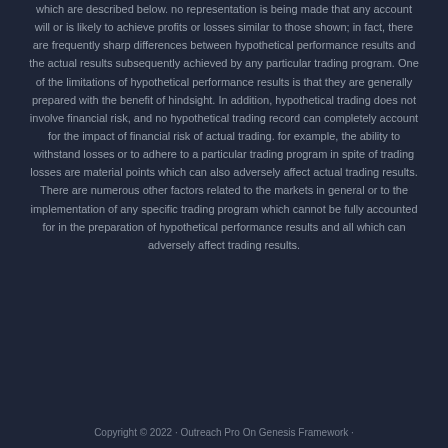which are described below. no representation is being made that any account will or is likely to achieve profits or losses similar to those shown; in fact, there are frequently sharp differences between hypothetical performance results and the actual results subsequently achieved by any particular trading program. One of the limitations of hypothetical performance results is that they are generally prepared with the benefit of hindsight. In addition, hypothetical trading does not involve financial risk, and no hypothetical trading record can completely account for the impact of financial risk of actual trading. for example, the ability to withstand losses or to adhere to a particular trading program in spite of trading losses are material points which can also adversely affect actual trading results. There are numerous other factors related to the markets in general or to the implementation of any specific trading program which cannot be fully accounted for in the preparation of hypothetical performance results and all which can adversely affect trading results.
Copyright © 2022 · Outreach Pro On Genesis Framework ·